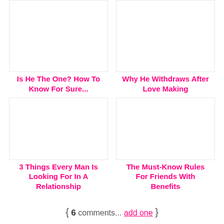Is He The One? How To Know For Sure...
Why He Withdraws After Love Making
3 Things Every Man Is Looking For In A Relationship
The Must-Know Rules For Friends With Benefits
{ 6 comments... add one }